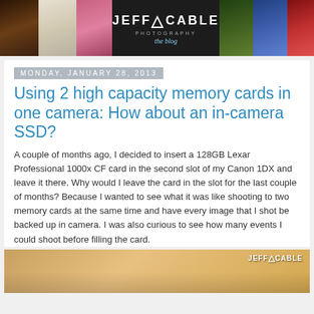[Figure (photo): Jeff Cable Photography blog header banner with multiple photography images and center logo text]
Monday, January 28, 2013
Using 2 high capacity memory cards in one camera: How about an in-camera SSD?
A couple of months ago, I decided to insert a 128GB Lexar Professional 1000x CF card in the second slot of my Canon 1DX and leave it there. Why would I leave the card in the slot for the last couple of months? Because I wanted to see what it was like shooting to two memory cards at the same time and have every image that I shot be backed up in camera. I was also curious to see how many events I could shoot before filling the card.
[Figure (photo): Partial preview of a photograph at the bottom of the page with Jeff Cable watermark logo]